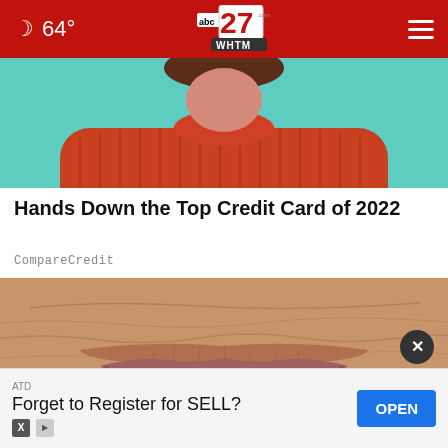64° abc27.com WHTM
[Figure (photo): Person wearing a red turtleneck sweater against a teal/turquoise background, head cropped at top]
Hands Down the Top Credit Card of 2022
CompareCredit
[Figure (photo): Close-up macro photo of an elderly person's mouth/lips showing aged, wrinkled lips]
ATD
Forget to Register for SELL?